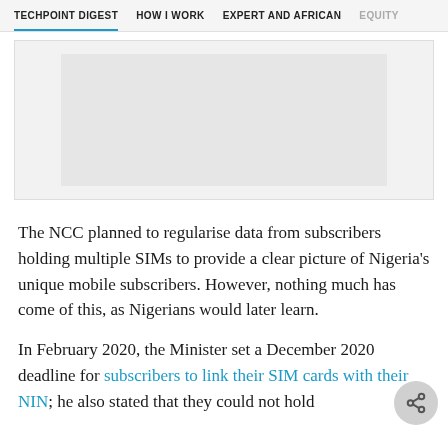TECHPOINT DIGEST   HOW I WORK   EXPERT AND AFRICAN   EQUITY
[Figure (other): Advertisement placeholder box with light gray background]
The NCC planned to regularise data from subscribers holding multiple SIMs to provide a clear picture of Nigeria's unique mobile subscribers. However, nothing much has come of this, as Nigerians would later learn.
In February 2020, the Minister set a December 2020 deadline for subscribers to link their SIM cards with their NIN; he also stated that they could not hold